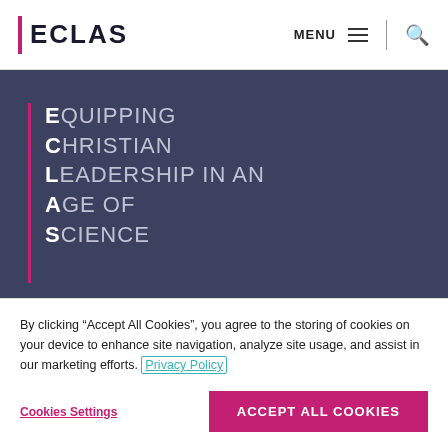ECLAS | MENU
EQUIPPING CHRISTIAN LEADERSHIP in an AGE of SCIENCE
OUR PARTNERS
American Scientific Affiliation
By clicking “Accept All Cookies”, you agree to the storing of cookies on your device to enhance site navigation, analyze site usage, and assist in our marketing efforts. Privacy Policy
Cookies Settings
ACCEPT ALL COOKIES